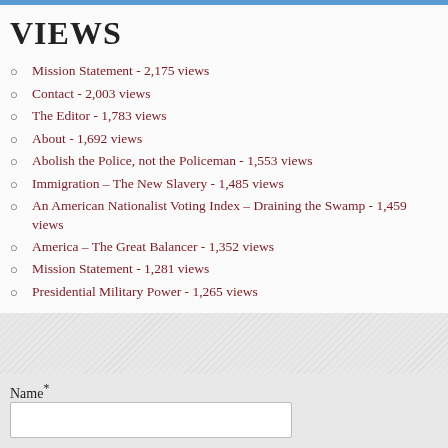VIEWS
Mission Statement - 2,175 views
Contact - 2,003 views
The Editor - 1,783 views
About - 1,692 views
Abolish the Police, not the Policeman - 1,553 views
Immigration – The New Slavery - 1,485 views
An American Nationalist Voting Index – Draining the Swamp - 1,459 views
America – The Great Balancer - 1,352 views
Mission Statement - 1,281 views
Presidential Military Power - 1,265 views
Name*